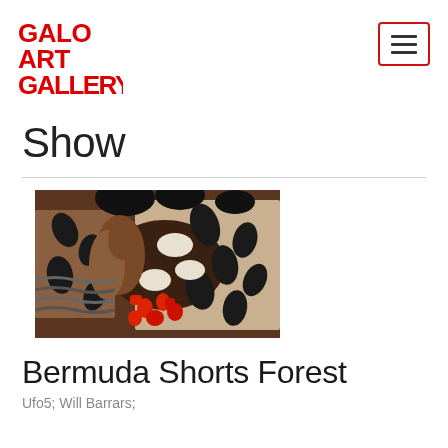GALO ART GALLERY
Show
[Figure (photo): Artwork thumbnail showing a figure wearing bermuda shorts with a bold black, white, and red tropical/floral pattern, mixed with animal print motifs, brown tones dominating]
Bermuda Shorts Forest
Ufo5; Will Barrars;